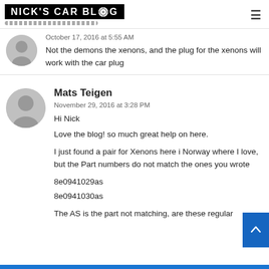Nick's Car Blog
October 17, 2016 at 5:55 AM
Not the demons the xenons, and the plug for the xenons will work with the car plug
Mats Teigen
November 29, 2016 at 3:28 PM
Hi Nick
Love the blog! so much great help on here.

I just found a pair for Xenons here i Norway where I love, but the Part numbers do not match the ones you wrote

8e0941029as
8e0941030as

The AS is the part not matching, are these regular